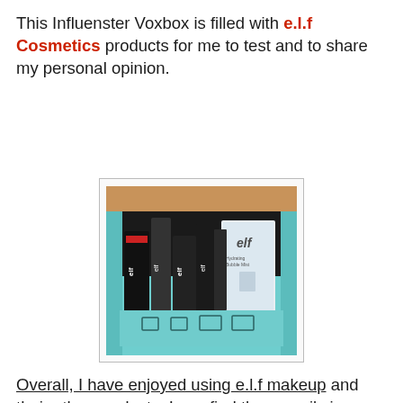This Influenster Voxbox is filled with e.l.f Cosmetics products for me to test and to share my personal opinion.
[Figure (photo): An open cardboard box (a Voxbox) lined in teal/mint color containing multiple e.l.f Cosmetics products including makeup items and a hydrating mist spray bottle.]
Overall, I have enjoyed using e.l.f makeup and their other products. I can find them easily in my local Target stores. They are priced reasonably and have a nice quality that never irritates my skin and provides the looks that I desire. I have recently tried their lip exfoliator, which moisturized and nourished my lips.